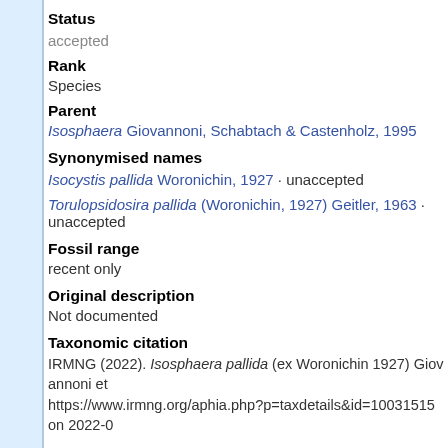Status
accepted
Rank
Species
Parent
Isosphaera Giovannoni, Schabtach & Castenholz, 1995
Synonymised names
Isocystis pallida Woronichin, 1927 · unaccepted
Torulopsidosira pallida (Woronichin, 1927) Geitler, 1963 · unaccepted
Fossil range
recent only
Original description
Not documented
Taxonomic citation
IRMNG (2022). Isosphaera pallida (ex Woronichin 1927) Giovannoni et https://www.irmng.org/aphia.php?p=taxdetails&id=10031515 on 2022-0
Taxonomic edit history
| Date | action |
| --- | --- |